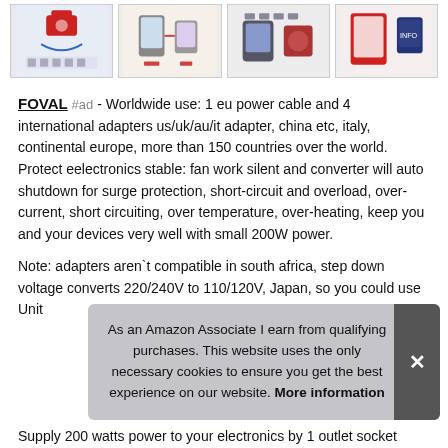[Figure (photo): Four product thumbnail images in a row showing power adapters and related electronics accessories]
FOVAL #ad - Worldwide use: 1 eu power cable and 4 international adapters us/uk/au/it adapter, china etc, italy, continental europe, more than 150 countries over the world. Protect eelectronics stable: fan work silent and converter will auto shutdown for surge protection, short-circuit and overload, over-current, short circuiting, over temperature, over-heating, keep you and your devices very well with small 200W power.
Note: adapters aren`t compatible in south africa, step down voltage converts 220/240V to 110/120V, Japan, so you could use...Unit...
As an Amazon Associate I earn from qualifying purchases. This website uses the only necessary cookies to ensure you get the best experience on our website. More information